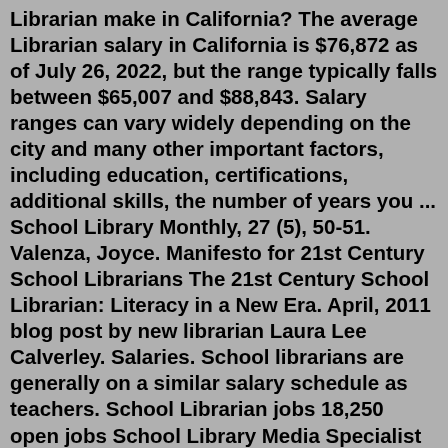Librarian make in California? The average Librarian salary in California is $76,872 as of July 26, 2022, but the range typically falls between $65,007 and $88,843. Salary ranges can vary widely depending on the city and many other important factors, including education, certifications, additional skills, the number of years you ... School Library Monthly, 27 (5), 50-51. Valenza, Joyce. Manifesto for 21st Century School Librarians The 21st Century School Librarian: Literacy in a New Era. April, 2011 blog post by new librarian Laura Lee Calverley. Salaries. School librarians are generally on a similar salary schedule as teachers. School Librarian jobs 18,250 open jobs School Library Media Specialist jobs 16,836 open jobs Document Clerk jobs 13,041 open jobs Information Scientist jobs ... Librarians make an average of $27.15 per hour in the United States. Across the nation, the typical librarian salary ranges from $7.25 per hour to $63.75 per hour. Factors like their geographic locations, experience level, education level and forms even affect librarians' earning...